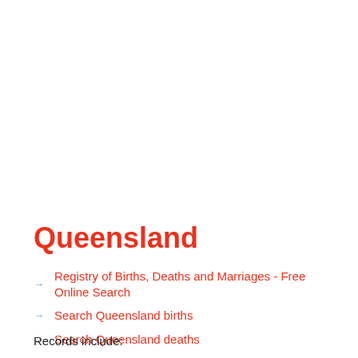Queensland
Registry of Births, Deaths and Marriages - Free Online Search
Search Queensland births
Search Queensland deaths
Search Queensland marriages
Records include: